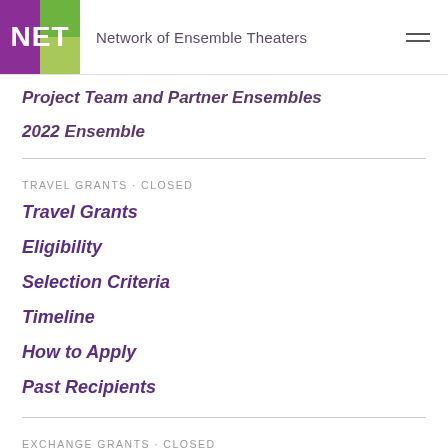NET · Network of Ensemble Theaters
Project Team and Partner Ensembles
2022 Ensemble
TRAVEL GRANTS · CLOSED
Travel Grants
Eligibility
Selection Criteria
Timeline
How to Apply
Past Recipients
EXCHANGE GRANTS · CLOSED
Exchange Grants
Eligibility
Selection Criteria